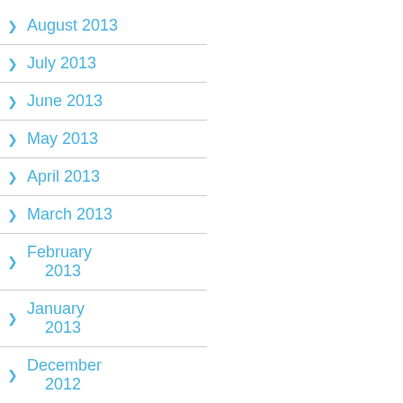August 2013
July 2013
June 2013
May 2013
April 2013
March 2013
February 2013
January 2013
December 2012
November